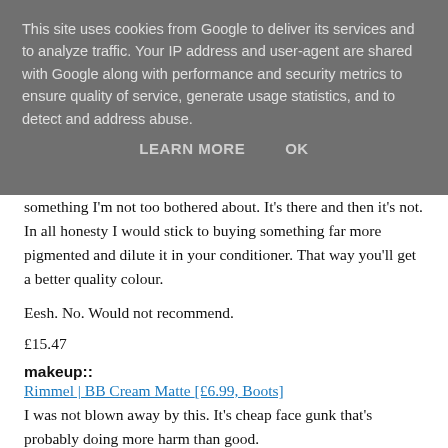This site uses cookies from Google to deliver its services and to analyze traffic. Your IP address and user-agent are shared with Google along with performance and security metrics to ensure quality of service, generate usage statistics, and to detect and address abuse.
LEARN MORE   OK
something I'm not too bothered about. It's there and then it's not. In all honesty I would stick to buying something far more pigmented and dilute it in your conditioner. That way you'll get a better quality colour.

Eesh. No. Would not recommend.

£15.47
makeup::
Rimmel | BB Cream Matte [£6.99, Boots]
I was not blown away by this. It's cheap face gunk that's probably doing more harm than good.